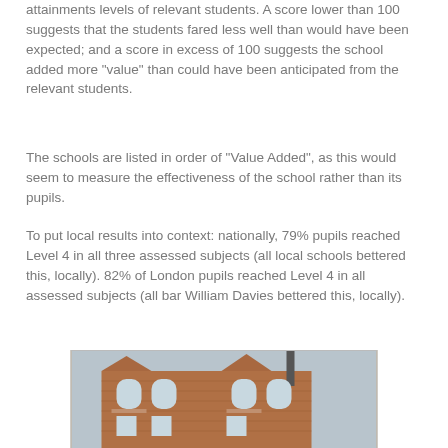attainments levels of relevant students. A score lower than 100 suggests that the students fared less well than would have been expected; and a score in excess of 100 suggests the school added more "value" than could have been anticipated from the relevant students.
The schools are listed in order of "Value Added", as this would seem to measure the effectiveness of the school rather than its pupils.
To put local results into context: nationally, 79% pupils reached Level 4 in all three assessed subjects (all local schools bettered this, locally). 82% of London pupils reached Level 4 in all assessed subjects (all bar William Davies bettered this, locally).
[Figure (photo): Photograph of a red brick school building exterior, showing upper floors with arched windows and a chimney/pipe, taken from a low angle.]